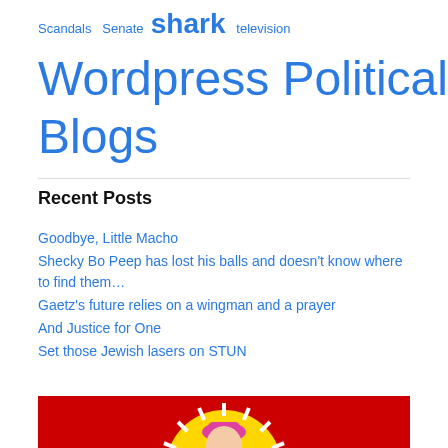Scandals  Senate  shark  television
Wordpress Political Blogs
Recent Posts
Goodbye, Little Macho
Shecky Bo Peep has lost his balls and doesn't know where to find them…
Gaetz's future relies on a wingman and a prayer
And Justice for One
Set those Jewish lasers on STUN
[Figure (photo): A person wearing a pink cat hat in front of a yellow circular sunburst design on a red background]